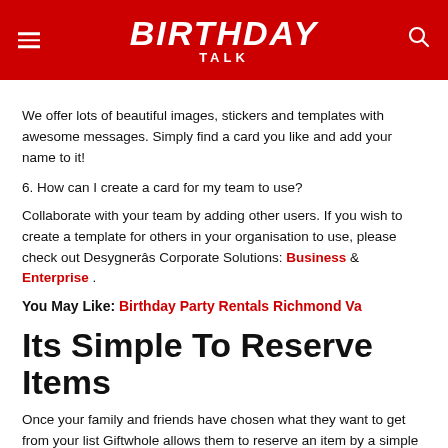BIRTHDAY TALK
We offer lots of beautiful images, stickers and templates with awesome messages. Simply find a card you like and add your name to it!
6. How can I create a card for my team to use?
Collaborate with your team by adding other users. If you wish to create a template for others in your organisation to use, please check out Desygnerâs Corporate Solutions: Business & Enterprise .
You May Like: Birthday Party Rentals Richmond Va
Its Simple To Reserve Items
Once your family and friends have chosen what they want to get from your list Giftwhole allows them to reserve an item by a simple click of a button